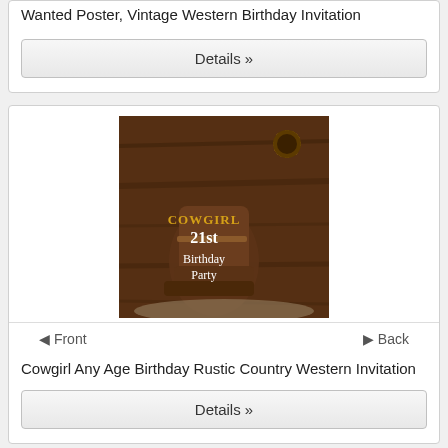Wanted Poster, Vintage Western Birthday Invitation
Details »
[Figure (illustration): Cowgirl 21st Birthday Party rustic western invitation card showing cowboy boots, sunflower, and dark brown wood background]
◁ Front   ▷ Back
Cowgirl Any Age Birthday Rustic Country Western Invitation
Details »
◁ Front   ▷ Back